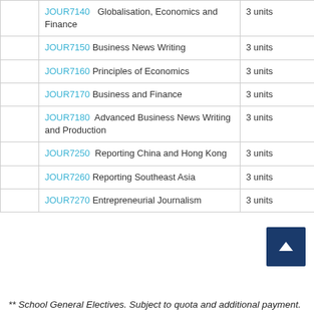|  | Course | Units |
| --- | --- | --- |
|  | JOUR7140 Globalisation, Economics and Finance | 3 units |
|  | JOUR7150 Business News Writing | 3 units |
|  | JOUR7160 Principles of Economics | 3 units |
|  | JOUR7170 Business and Finance | 3 units |
|  | JOUR7180 Advanced Business News Writing and Production | 3 units |
|  | JOUR7250 Reporting China and Hong Kong | 3 units |
|  | JOUR7260 Reporting Southeast Asia | 3 units |
|  | JOUR7270 Entrepreneurial Journalism | 3 units |
** School General Electives. Subject to quota and additional payment.